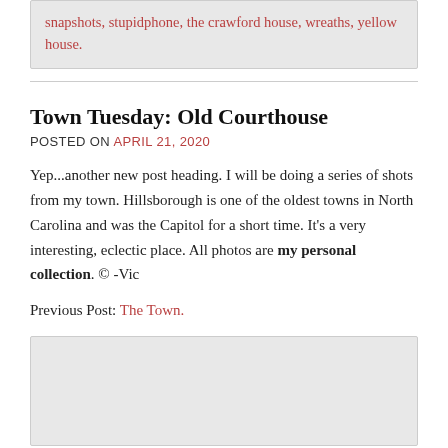snapshots, stupidphone, the crawford house, wreaths, yellow house.
Town Tuesday: Old Courthouse
POSTED ON APRIL 21, 2020
Yep...another new post heading. I will be doing a series of shots from my town. Hillsborough is one of the oldest towns in North Carolina and was the Capitol for a short time. It's a very interesting, eclectic place. All photos are my personal collection. © -Vic
Previous Post: The Town.
[Figure (other): Light gray box, likely placeholder for an image or widget]